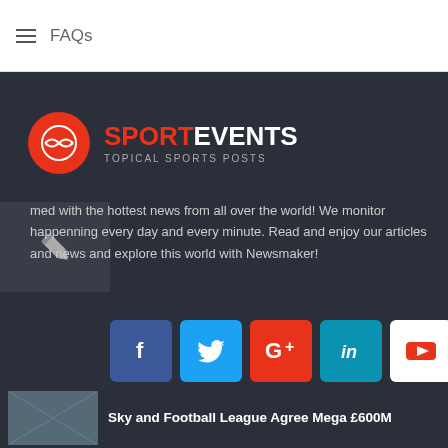FAQs
[Figure (logo): SportEvents logo — red circle with baseball icon, red SPORT and white EVENTS text, tagline TOPICAL SPORTS POSTS]
med with the hottest news from all over the world! We monitor happenning every day and every minute. Read and enjoy our articles and news and explore this world with Newsmaker!
[Figure (infographic): Row of 6 social media icon buttons: Facebook (blue), Twitter (light blue), Google+ (red), LinkedIn (teal), YouTube (white), Instagram (blue)]
Sky and Football League Agree Mega £600M